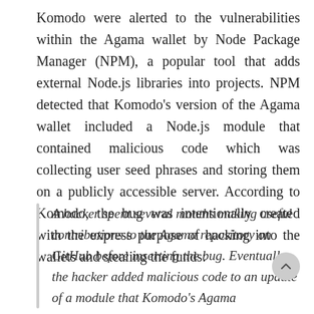Komodo were alerted to the vulnerabilities within the Agama wallet by Node Package Manager (NPM), a popular tool that adds external Node.js libraries into projects. NPM detected that Komodo's version of the Agama wallet included a Node.js module that contained malicious code which was collecting user seed phrases and storing them on a publicly accessible server. According to Komodo, the bug was intentionally created with the express purpose of hacking into the wallets and stealing the funds:
A hacker spent several months making useful contributions to the Agama repository on GitHub before inserting the bug. Eventually, the hacker added malicious code to an update of a module that Komodo's Agama